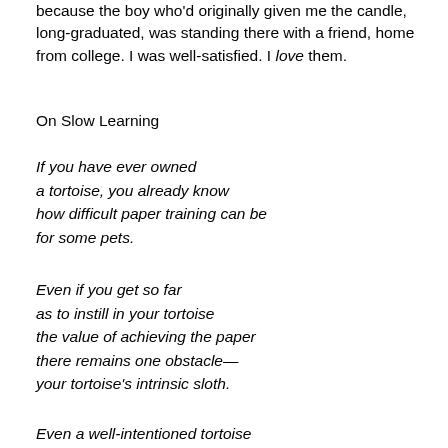because the boy who'd originally given me the candle, long-graduated, was standing there with a friend, home from college. I was well-satisfied. I love them.
On Slow Learning
If you have ever owned
a tortoise, you already know
how difficult paper training can be
for some pets.
Even if you get so far
as to instill in your tortoise
the value of achieving the paper
there remains one obstacle—
your tortoise's intrinsic sloth.
Even a well-intentioned tortoise